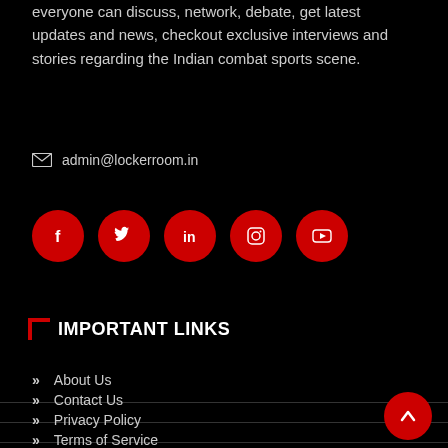everyone can discuss, network, debate, get latest updates and news, checkout exclusive interviews and stories regarding the Indian combat sports scene.
admin@lockerroom.in
[Figure (infographic): Five red circular social media icon buttons: Facebook, Twitter, LinkedIn, Instagram, YouTube]
IMPORTANT LINKS
About Us
Contact Us
Privacy Policy
Terms of Service